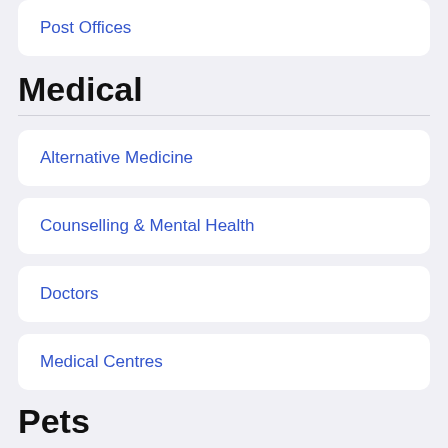Post Offices
Medical
Alternative Medicine
Counselling & Mental Health
Doctors
Medical Centres
Pets